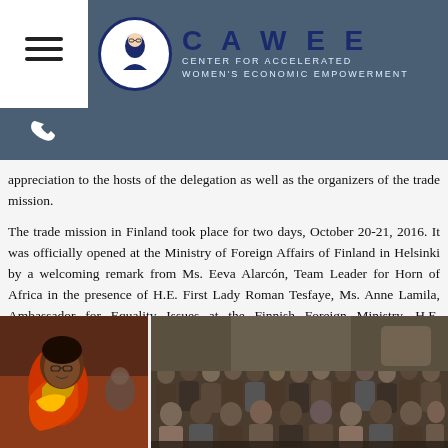CAWEE - CENTER FOR ACCELERATED WOMEN'S ECONOMIC EMPOWERMENT
appreciation to the hosts of the delegation as well as the organizers of the trade mission.
The trade mission in Finland took place for two days, October 20-21, 2016. It was officially opened at the Ministry of Foreign Affairs of Finland in Helsinki by a welcoming remark from Ms. Eeva Alarcón, Team Leader for Horn of Africa in the presence of H.E. First Lady Roman Tesfaye, Ms. Anne Lamila, Ambassador for Equality Issues at the Finnish Foreign Ministry, H.E. Ambassador Woinshet Tadesse, Finish potential buyers and other invited guests on October 20, 2016.
[Figure (photo): Left: A woman with glasses and colorful scarf at a podium or speaking event. Right: An audience of people seated in a conference or event hall.]